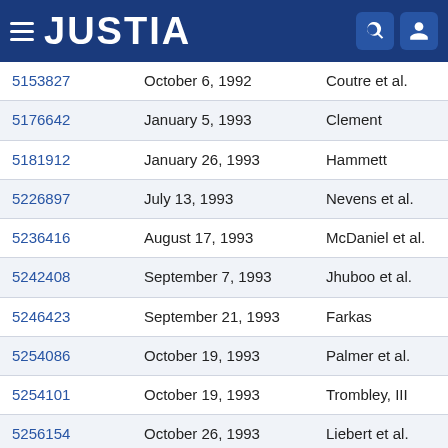JUSTIA
| 5153827 | October 6, 1992 | Coutre et al. |
| 5176642 | January 5, 1993 | Clement |
| 5181912 | January 26, 1993 | Hammett |
| 5226897 | July 13, 1993 | Nevens et al. |
| 5236416 | August 17, 1993 | McDaniel et al. |
| 5242408 | September 7, 1993 | Jhuboo et al. |
| 5246423 | September 21, 1993 | Farkas |
| 5254086 | October 19, 1993 | Palmer et al. |
| 5254101 | October 19, 1993 | Trombley, III |
| 5256154 | October 26, 1993 | Liebert et al. |
| 5256157 | October 26, 1993 | Samiotes et al. |
| 5269762 | December 14, 1993 | Armbruster et al. |